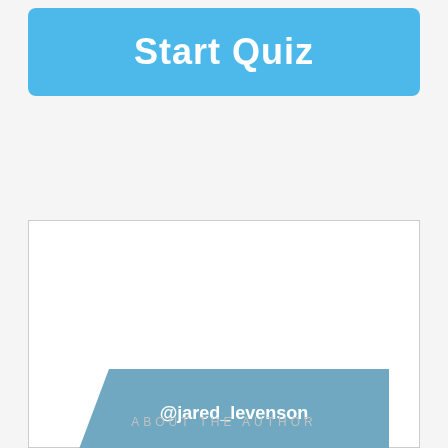Start Quiz
[Figure (other): A blue parallelogram shape containing the text '@jared_levenson' in white, serving as an author tag inside a bordered card box with 'ABOUT THE AUTHOR' text below it.]
ABOUT THE AUTHOR